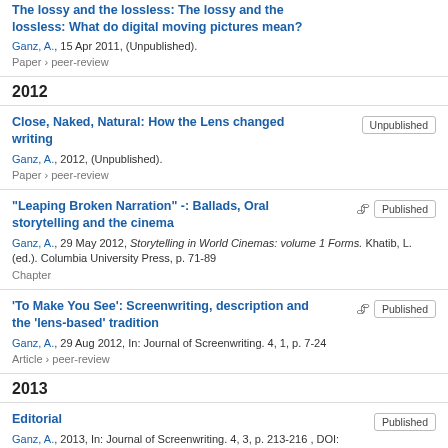The lossy and the lossless: The lossy and the lossless: What do digital moving pictures mean?
Ganz, A., 15 Apr 2011, (Unpublished).
Paper › peer-review
2012
Close, Naked, Natural: How the Lens changed writing
Ganz, A., 2012, (Unpublished).
Paper › peer-review
"Leaping Broken Narration" -: Ballads, Oral storytelling and the cinema
Ganz, A., 29 May 2012, Storytelling in World Cinemas: volume 1 Forms. Khatib, L. (ed.). Columbia University Press, p. 71-89
Chapter
'To Make You See': Screenwriting, description and the 'lens-based' tradition
Ganz, A., 29 Aug 2012, In: Journal of Screenwriting. 4, 1, p. 7-24
Article › peer-review
2013
Editorial
Ganz, A., 2013, In: Journal of Screenwriting. 4, 3, p. 213-216 , DOI: 10.1386/josc.4.3.213_2 .
Editorial › peer-review